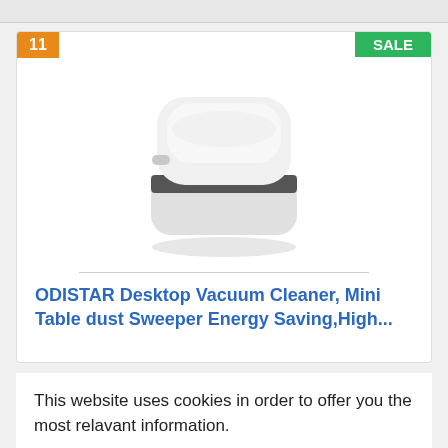[Figure (photo): White compact desktop mini vacuum cleaner / dust sweeper, rounded square shape with a dark band in the middle, shown on white background]
ODISTAR Desktop Vacuum Cleaner, Mini Table dust Sweeper Energy Saving,High...
This website uses cookies in order to offer you the most relavant information.
I understand